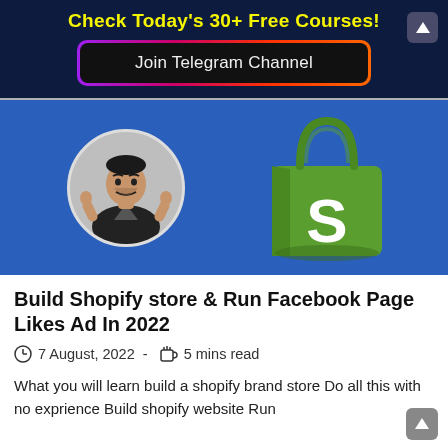Check Today's 30+ Free Courses!
Join Telegram Channel
[Figure (illustration): Blue banner with a circular photo of a young man giving thumbs up on the left, and the Shopify green shopping bag logo with white 'S' on the right.]
Build Shopify store & Run Facebook Page Likes Ad In 2022
7 August, 2022  -  5 mins read
What you will learn build a shopify brand store Do all this with no exprience Build shopify website Run